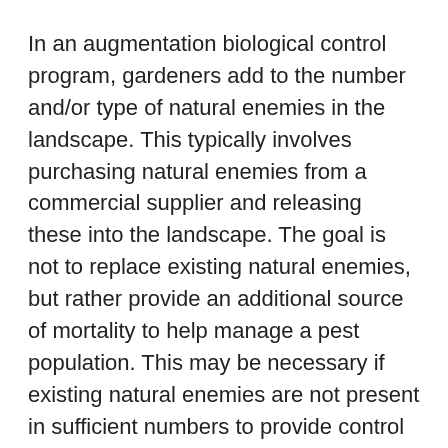In an augmentation biological control program, gardeners add to the number and/or type of natural enemies in the landscape. This typically involves purchasing natural enemies from a commercial supplier and releasing these into the landscape. The goal is not to replace existing natural enemies, but rather provide an additional source of mortality to help manage a pest population. This may be necessary if existing natural enemies are not present in sufficient numbers to provide control or appear too late in the season to manage the pest effectively.
Augmentation can be labor intensive and/or expensive. Augmentation strategies have not...